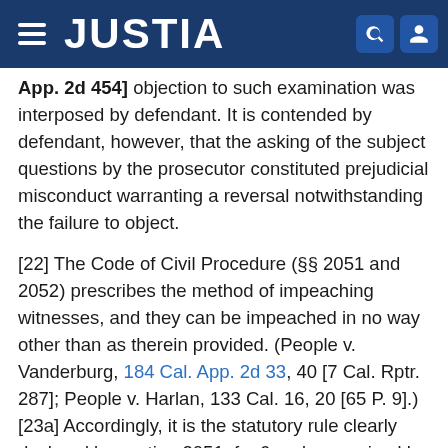JUSTIA
App. 2d 454] objection to such examination was interposed by defendant. It is contended by defendant, however, that the asking of the subject questions by the prosecutor constituted prejudicial misconduct warranting a reversal notwithstanding the failure to object.
[22] The Code of Civil Procedure (§§ 2051 and 2052) prescribes the method of impeaching witnesses, and they can be impeached in no way other than as therein provided. (People v. Vanderburg, 184 Cal. App. 2d 33, 40 [7 Cal. Rptr. 287]; People v. Harlan, 133 Cal. 16, 20 [65 P. 9].) [23a] Accordingly, it is the statutory rule clearly declared by section 2051, fn. 6 and recognized by numerous cases stating that the statute means precisely what is stated therein, that a witness may not be impeached " ' "by evidence of particular wrongful acts, except that it may be shown by the examination of